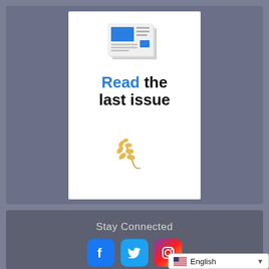[Figure (illustration): White card on gray background containing a newspaper/document icon at top, bold text 'Read the last issue' below it, and a wheat/grain icon at the bottom of the card.]
Read the last issue
Stay Connected
[Figure (logo): Three social media icons: Facebook (blue rounded square with 'f'), Twitter (light blue rounded square with bird), Instagram (purple/red/orange gradient rounded square with camera icon)]